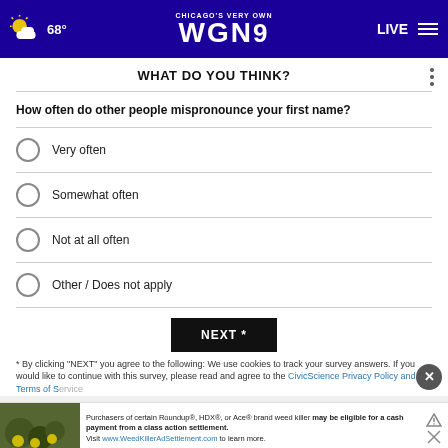Chicago's Very Own WGN9 — 68° LIVE
WHAT DO YOU THINK?
How often do other people mispronounce your first name?
Very often
Somewhat often
Not at all often
Other / Does not apply
NEXT *
* By clicking "NEXT" you agree to the following: We use cookies to track your survey answers. If you would like to continue with this survey, please read and agree to the CivicScience Privacy Policy and Terms of Service
[Figure (other): Advertisement for Roundup, HDX, or Ace brand weed killer class action settlement. Text: Purchasers of certain Roundup®, HDX®, or Ace® brand weed killer may be eligible for a cash payment from a class action settlement. Visit www.WeedKillerAdSettlement.com to learn more.]
TOP STORIES ›